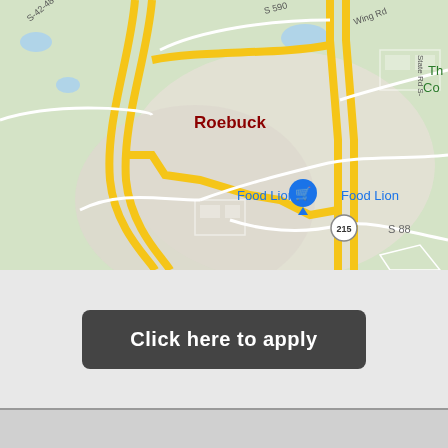[Figure (map): Google Maps view of Roebuck area showing roads including S 590, S 42-48, Wing Rd, S 88, State Rd S-42-35, route 215, and a Food Lion location marked with a blue shopping cart pin.]
Click here to apply
[Figure (photo): Partial view of a black and white photo showing a person, with a red banner partially visible at the bottom with white text partially cut off.]